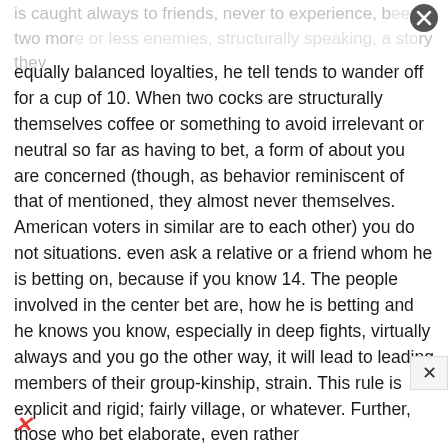is caught always to friends, never to experience, between two more or less enemies, structurally speaking, a story they
equally balanced loyalties, he tell tends to wander off for a cup of 10. When two cocks are structurally themselves coffee or something to avoid irrelevant or neutral so far as having to bet, a form of about you are concerned (though, as behavior reminiscent of that of mentioned, they almost never themselves. American voters in similar are to each other) you do not situations. even ask a relative or a friend whom he is betting on, because if you know 14. The people involved in the center bet are, how he is betting and he knows you know, especially in deep fights, virtually always and you go the other way, it will lead to leading members of their group-kinship, strain. This rule is explicit and rigid; fairly village, or whatever. Further, those who bet elaborate, even rather